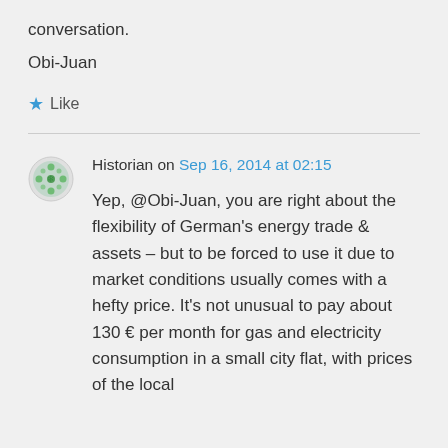conversation.
Obi-Juan
Like
Historian on Sep 16, 2014 at 02:15
Yep, @Obi-Juan, you are right about the flexibility of German's energy trade & assets – but to be forced to use it due to market conditions usually comes with a hefty price. It's not unusual to pay about 130 € per month for gas and electricity consumption in a small city flat, with prices of the local